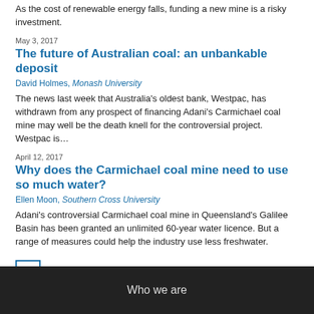As the cost of renewable energy falls, funding a new mine is a risky investment.
May 3, 2017
The future of Australian coal: an unbankable deposit
David Holmes, Monash University
The news last week that Australia's oldest bank, Westpac, has withdrawn from any prospect of financing Adani's Carmichael coal mine may well be the death knell for the controversial project. Westpac is…
April 12, 2017
Why does the Carmichael coal mine need to use so much water?
Ellen Moon, Southern Cross University
Adani's controversial Carmichael coal mine in Queensland's Galilee Basin has been granted an unlimited 60-year water licence. But a range of measures could help the industry use less freshwater.
1 2 ▶
Who we are